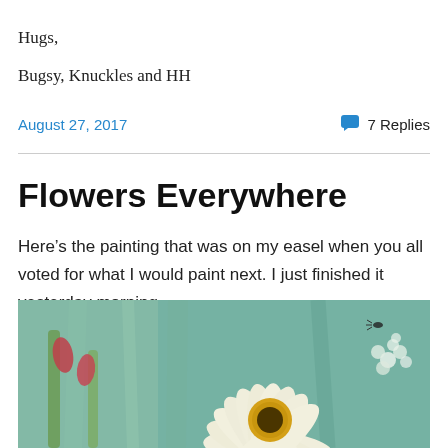Hugs,
Bugsy, Knuckles and HH
August 27, 2017
7 Replies
Flowers Everywhere
Here’s the painting that was on my easel when you all voted for what I would paint next. I just finished it yesterday morning.
[Figure (photo): A painting of large white daisy flowers with yellow centers on a teal/green background, with hints of pink flower buds and green leaves.]